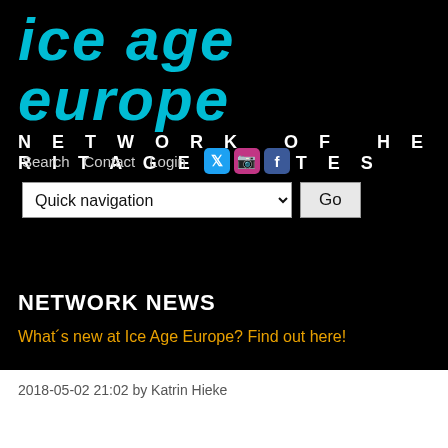ice age europe NETWORK OF HERITAGE SITES
Search  Contact  Login
[Figure (screenshot): Navigation UI with Quick navigation dropdown and Go button, plus social media icons for Twitter, Instagram, Facebook]
NETWORK NEWS
What´s new at Ice Age Europe? Find out here!
2018-05-02 21:02 by Katrin Hieke